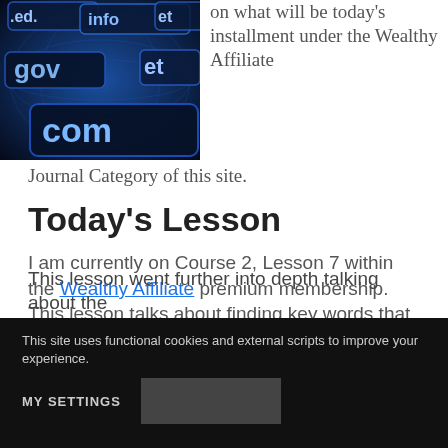[Figure (photo): Dark blue digital background showing domain name extensions: .info, .net, .gov, .com displayed as glowing button-style text on a blue globe/world map background]
on what will be today's installment under the Wealthy Affiliate Journal Category of this site.
Today's Lesson
I am currently on Course 2, Lesson 7 within the Wealthy Affiliate premium membership. This lesson talks about finding key words that are most effective
This lesson went further into depth talking about the
This site uses functional cookies and external scripts to improve your experience.
MY SETTINGS